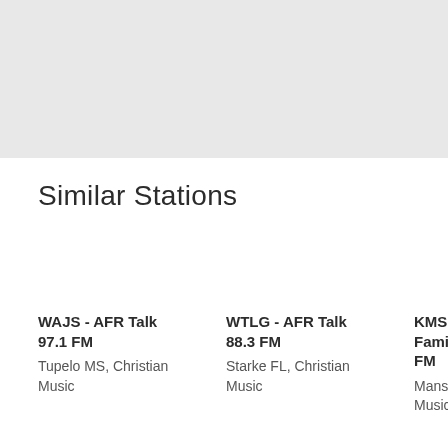[Figure (other): Gray banner area at top of page]
Similar Stations
WAJS - AFR Talk 97.1 FM
Tupelo MS, Christian Music
WTLG - AFR Talk 88.3 FM
Starke FL, Christian Music
KMSL - Family Radio FM
Mansfield, Christian Music, Go...